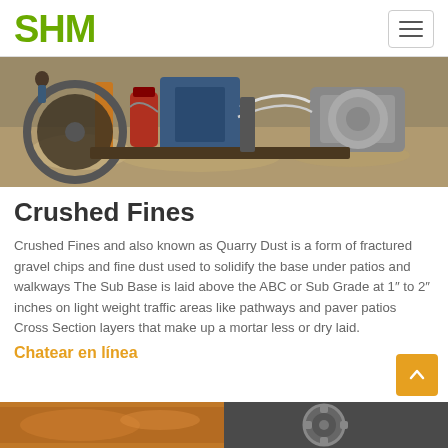SHM
[Figure (photo): Construction site with heavy machinery — a rock crusher or drilling rig with hydraulic components, electric motor, hoses, and aggregates/gravel visible on the ground.]
Crushed Fines
Crushed Fines and also known as Quarry Dust is a form of fractured gravel chips and fine dust used to solidify the base under patios and walkways The Sub Base is laid above the ABC or Sub Grade at 1″ to 2″ inches on light weight traffic areas like pathways and paver patios Cross Section layers that make up a mortar less or dry laid.
Chatear en línea
[Figure (photo): Bottom strip showing two partial images: left appears to be orange/brown construction material, right appears to be a gear or machinery component.]